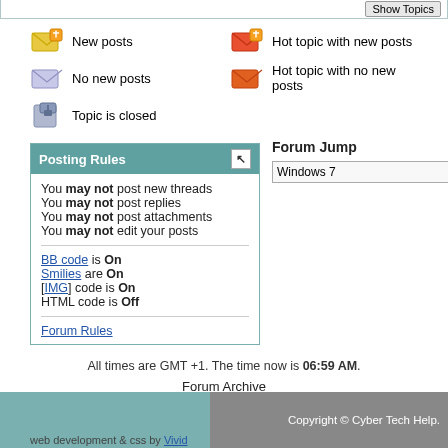New posts
Hot topic with new posts
No new posts
Hot topic with no new posts
Topic is closed
Posting Rules
You may not post new threads
You may not post replies
You may not post attachments
You may not edit your posts
BB code is On
Smilies are On
[IMG] code is On
HTML code is Off
Forum Rules
Forum Jump
Windows 7
All times are GMT +1. The time now is 06:59 AM.
Forum Archive
Copyright © Cyber Tech Help.
web development & css by Vivid